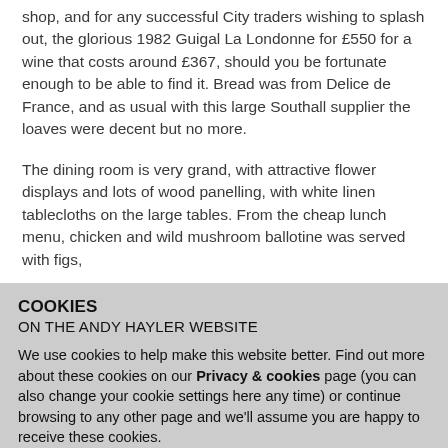shop, and for any successful City traders wishing to splash out, the glorious 1982 Guigal La Londonne for £550 for a wine that costs around £367, should you be fortunate enough to be able to find it. Bread was from Delice de France, and as usual with this large Southall supplier the loaves were decent but no more.
The dining room is very grand, with attractive flower displays and lots of wood panelling, with white linen tablecloths on the large tables. From the cheap lunch menu, chicken and wild mushroom ballotine was served with figs,
COOKIES
ON THE ANDY HAYLER WEBSITE
We use cookies to help make this website better. Find out more about these cookies on our Privacy & cookies page (you can also change your cookie settings here any time) or continue browsing to any other page and we'll assume you are happy to receive these cookies.
Continue →